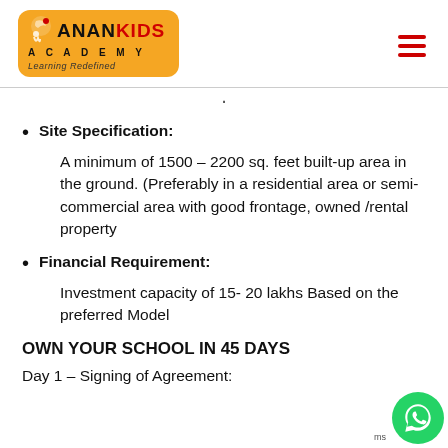[Figure (logo): Anan Kids Academy logo - orange rounded rectangle with moon/star icon, text ANAN KIDS in black and red, ACADEMY in spaced letters, tagline 'Learning Redefined']
Site Specification:
A minimum of 1500 – 2200 sq. feet built-up area in the ground. (Preferably in a residential area or semi-commercial area with good frontage, owned /rental property
Financial Requirement:
Investment capacity of 15- 20 lakhs Based on the preferred Model
OWN YOUR SCHOOL IN 45 DAYS
Day 1 – Signing of Agreement: